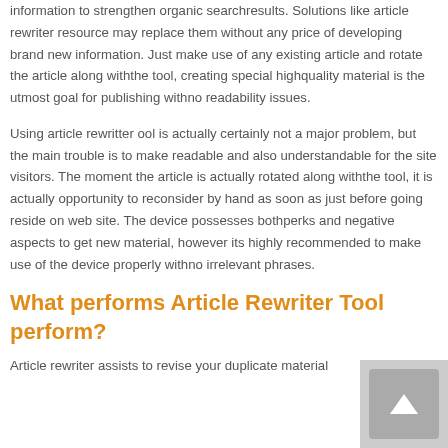information to strengthen organic searchresults. Solutions like article rewriter resource may replace them without any price of developing brand new information. Just make use of any existing article and rotate the article along withthe tool, creating special highquality material is the utmost goal for publishing withno readability issues.
Using article rewritter ool is actually certainly not a major problem, but the main trouble is to make readable and also understandable for the site visitors. The moment the article is actually rotated along withthe tool, it is actually opportunity to reconsider by hand as soon as just before going reside on web site. The device possesses bothperks and negative aspects to get new material, however its highly recommended to make use of the device properly withno irrelevant phrases.
What performs Article Rewriter Tool perform?
Article rewriter assists to revise your duplicate material